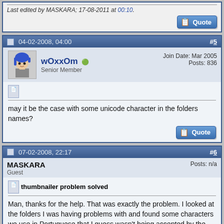Last edited by MASKARA; 17-08-2011 at 00:10.
04-02-2008, 04:00 #5
wOxxOm Senior Member Join Date: Mar 2005 Posts: 836
may it be the case with some unicode character in the folders names?
07-02-2008, 22:17 #6
MASKARA Guest Posts: n/a
thumbnailer problem solved
Man, thanks for the help. That was exactly the problem. I looked at the folders I was having problems with and found some characters we use in Portuguese that I guess wasn't being accepted by the program. You saved the day, not only the the day but the week, the month and so on.
Thanks a lot.